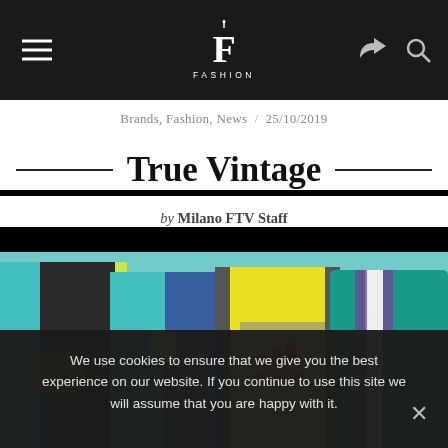FASHION (logo nav bar with hamburger menu, share icon, search icon)
Brands, Fashion, News  /  25/10/2019
True Vintage
by Milano FTV Staff
[Figure (photo): Four vintage Adidas track jackets displayed against a teal/light blue background: black and teal jacket with Adidas logo patch, purple/teal jacket with neon yellow stripe, bright yellow jacket with Adidas logo in red/orange, and teal jacket with white and purple stripes.]
We use cookies to ensure that we give you the best experience on our website. If you continue to use this site we will assume that you are happy with it.